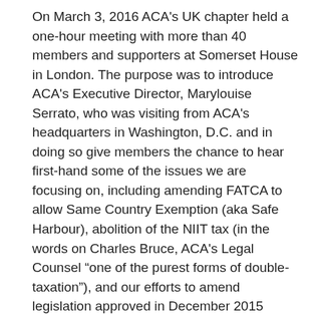On March 3, 2016 ACA's UK chapter held a one-hour meeting with more than 40 members and supporters at Somerset House in London. The purpose was to introduce ACA's Executive Director, Marylouise Serrato, who was visiting from ACA's headquarters in Washington, D.C. and in doing so give members the chance to hear first-hand some of the issues we are focusing on, including amending FATCA to allow Same Country Exemption (aka Safe Harbour), abolition of the NIIT tax (in the words on Charles Bruce, ACA's Legal Counsel “one of the purest forms of double-taxation”), and our efforts to amend legislation approved in December 2015 allowing the IRS to revoke passports in the event of unpaid taxes.
On a more positive note, ACA’s new partnership with the State Department Federal Credit Union was announced to wide acclaim. Eighteen months in the making, the ACA Members/SDFCU account will give